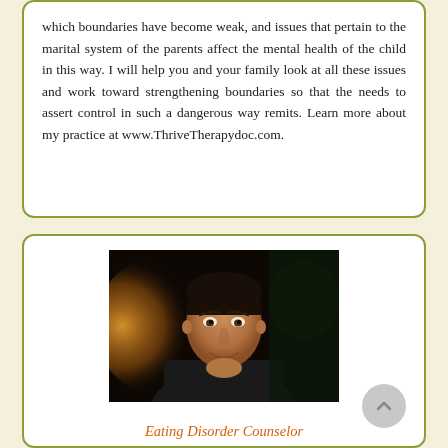which boundaries have become weak, and issues that pertain to the marital system of the parents affect the mental health of the child in this way. I will help you and your family look at all these issues and work toward strengthening boundaries so that the needs to assert control in such a dangerous way remits. Learn more about my practice at www.ThriveTherapydoc.com.
[Figure (photo): Portrait photo of a middle-aged man with dark hair, smiling slightly, resting his chin on his hand, wearing a dark jacket, with a warm blurred background suggesting fireplace or warm light.]
Eating Disorder Counselor